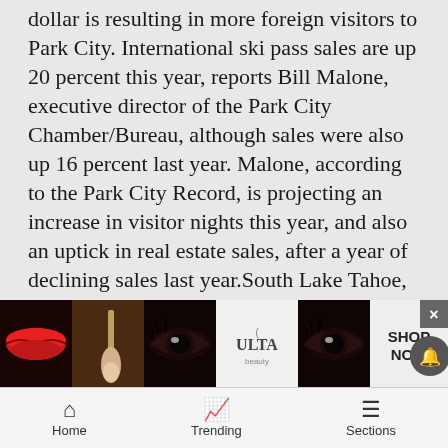dollar is resulting in more foreign visitors to Park City. International ski pass sales are up 20 percent this year, reports Bill Malone, executive director of the Park City Chamber/Bureau, although sales were also up 16 percent last year. Malone, according to the Park City Record, is projecting an increase in visitor nights this year, and also an uptick in real estate sales, after a year of declining sales last year.South Lake Tahoe, Calif.: California resort says no to smokeHeavenly Mountain has banned smoking on chairlifts and in lift lines. The ban follows complaints from several Heavenly customers, reports the Tahoe Daily News. One customer, Diana Woodbury, complained that she had an asthma attack after riding in a chairlift behind a cigar-smoker. My throat and lungs are raw from coughing back, she said.
[Figure (other): ULTA beauty advertisement banner with makeup imagery (lips, brush, eyes) and SHOP NOW button]
Home   Trending   Sections